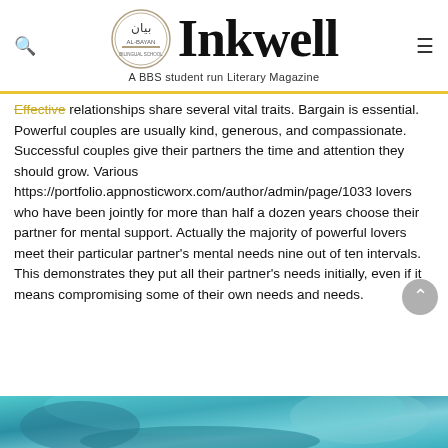Inkwell — A BBS student run Literary Magazine
Effective relationships share several vital traits. Bargain is essential. Powerful couples are usually kind, generous, and compassionate. Successful couples give their partners the time and attention they should grow. Various https://portfolio.appnosticworx.com/author/admin/page/1033 lovers who have been jointly for more than half a dozen years choose their partner for mental support. Actually the majority of powerful lovers meet their particular partner's mental needs nine out of ten intervals. This demonstrates they put all their partner's needs initially, even if it means compromising some of their own needs and needs.
[Figure (photo): Partial view of a person with blue/teal hair or background at the bottom of the page]